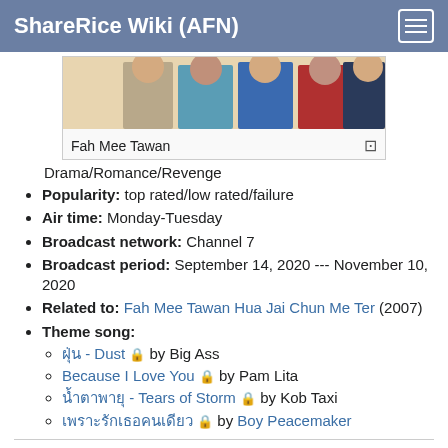ShareRice Wiki (AFN)
[Figure (photo): Group photo of cast members for Fah Mee Tawan]
Fah Mee Tawan
Drama/Romance/Revenge
Popularity: top rated/low rated/failure
Air time: Monday-Tuesday
Broadcast network: Channel 7
Broadcast period: September 14, 2020 --- November 10, 2020
Related to: Fah Mee Tawan Hua Jai Chun Me Ter (2007)
Theme song:
ฝุ่น - Dust 🔒 by Big Ass
Because I Love You 🔒 by Pam Lita
น้ำตาพายุ - Tears of Storm 🔒 by Kob Taxi
เพราะรักเธอคนเดียว 🔒 by Boy Peacemaker
Production Credits
Producer: Tle Tawan Jarujinda & Tum Wichaya Jarujinda